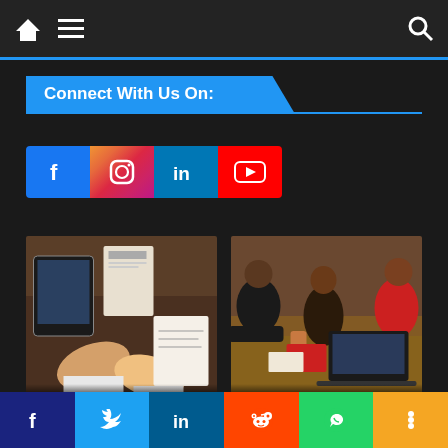Navigation bar with home, menu, and search icons
Connect With Us On:
[Figure (infographic): Social media icons row: Facebook (blue), Instagram (gradient), LinkedIn (blue), YouTube (red)]
[Figure (photo): Article card: hands doing fist bump over a desk with tablets and papers. Title: Formation and Incorporation Of Company]
[Figure (photo): Article card: people working together at a table with laptops. Title: How to be a Good Team Player]
[Figure (infographic): Social share bar at bottom: Facebook (dark blue), Twitter (light blue), LinkedIn (blue), Reddit (orange-red), WhatsApp (green), More (orange/yellow)]